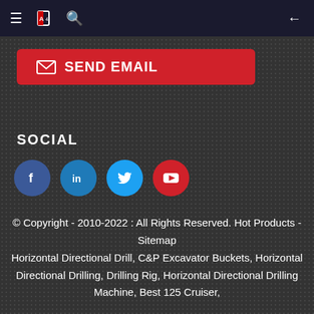Navigation bar with menu, book, search icons and back arrow
✉ SEND EMAIL
SOCIAL
[Figure (other): Social media icons: Facebook, LinkedIn, Twitter, YouTube]
© Copyright - 2010-2022 : All Rights Reserved. Hot Products - Sitemap Horizontal Directional Drill, C&P Excavator Buckets, Horizontal Directional Drilling, Drilling Rig, Horizontal Directional Drilling Machine, Best 125 Cruiser,